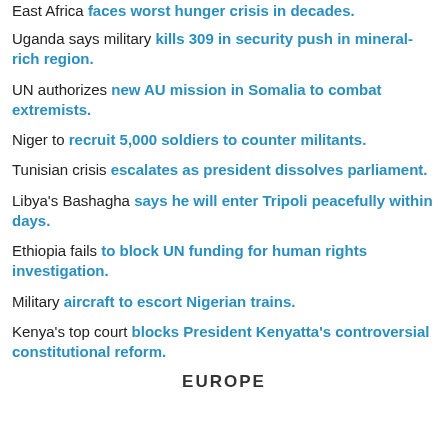East Africa faces worst hunger crisis in decades.
Uganda says military kills 309 in security push in mineral-rich region.
UN authorizes new AU mission in Somalia to combat extremists.
Niger to recruit 5,000 soldiers to counter militants.
Tunisian crisis escalates as president dissolves parliament.
Libya's Bashagha says he will enter Tripoli peacefully within days.
Ethiopia fails to block UN funding for human rights investigation.
Military aircraft to escort Nigerian trains.
Kenya's top court blocks President Kenyatta's controversial constitutional reform.
EUROPE